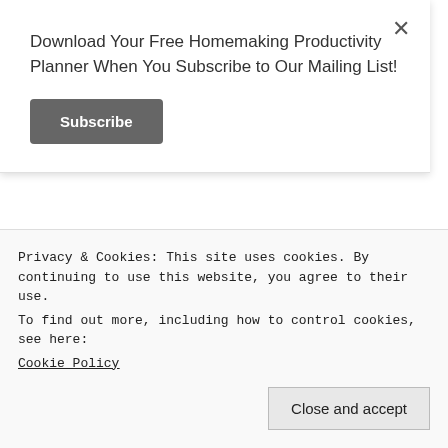Download Your Free Homemaking Productivity Planner When You Subscribe to Our Mailing List!
Subscribe
[Figure (photo): Profile photo of a smiling woman in a denim jacket outdoors]
10
flourishingathome
coupons. I had no idea they
Privacy & Cookies: This site uses cookies. By continuing to use this website, you agree to their use.
To find out more, including how to control cookies, see here:
Cookie Policy
Close and accept